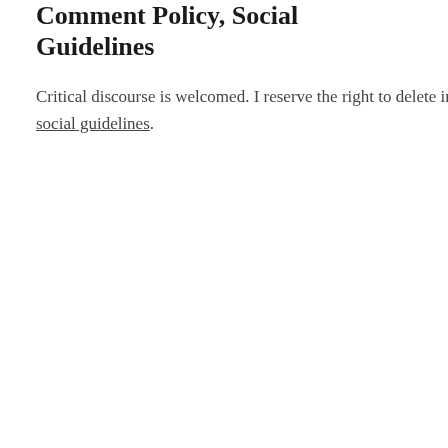Comment Policy, Social Guidelines
Critical discourse is welcomed. I reserve the right to delete inappropriate comments. See my social guidelines.
What else would y… new ways to be he…
Valeria Maltoni in customer e…